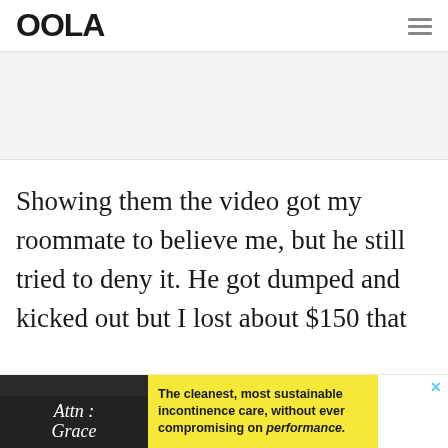OOLA
[Figure (other): Grey advertisement placeholder area]
Showing them the video got my roommate to believe me, but he still tried to deny it. He got dumped and kicked out but I lost about $150 that
[Figure (other): Bottom banner advertisement: Attn: Grace – The cleanest, most sustainable incontinence care, without ever compromising on performance.]